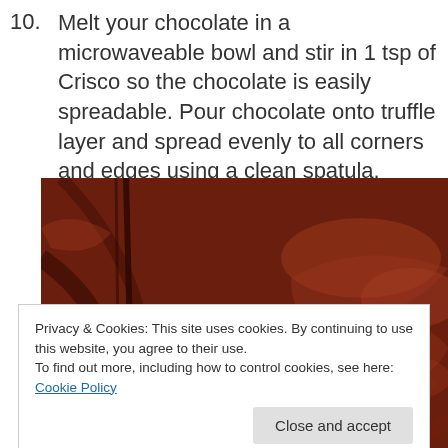10. Melt your chocolate in a microwaveable bowl and stir in 1 tsp of Crisco so the chocolate is easily spreadable. Pour chocolate onto truffle layer and spread evenly to all corners and edges using a clean spatula.
[Figure (photo): Close-up photo of dark melted chocolate being spread, showing glossy swirls and a spatula mark across the surface.]
Privacy & Cookies: This site uses cookies. By continuing to use this website, you agree to their use.
To find out more, including how to control cookies, see here: Cookie Policy